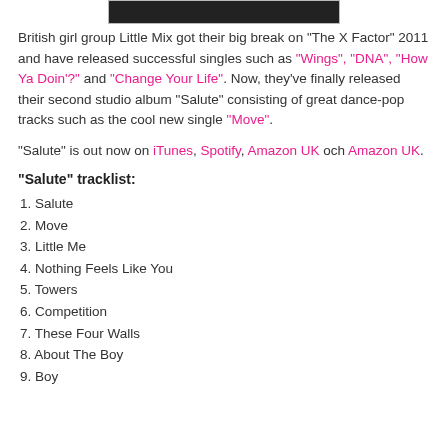[Figure (photo): Dark banner image at the top of the page (partial, mostly black)]
British girl group Little Mix got their big break on "The X Factor" 2011 and have released successful singles such as "Wings", "DNA", "How Ya Doin'?" and "Change Your Life". Now, they've finally released their second studio album "Salute" consisting of great dance-pop tracks such as the cool new single "Move".
"Salute" is out now on iTunes, Spotify, Amazon UK och Amazon UK.
"Salute" tracklist:
1. Salute
2. Move
3. Little Me
4. Nothing Feels Like You
5. Towers
6. Competition
7. These Four Walls
8. About The Boy
9. Boy